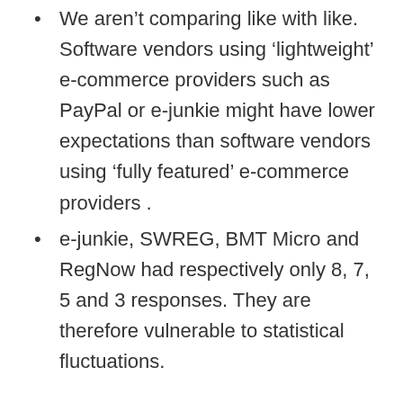We aren't comparing like with like. Software vendors using 'lightweight' e-commerce providers such as PayPal or e-junkie might have lower expectations than software vendors using 'fully featured' e-commerce providers .
e-junkie, SWREG, BMT Micro and RegNow had respectively only 8, 7, 5 and 3 responses. They are therefore vulnerable to statistical fluctuations.
That said, the ranking does correlate fairly well with the many comments I see about ecommerce providers on various forums. I don't think I would say that some of the…